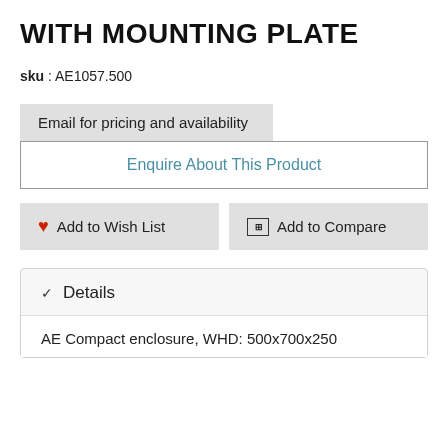WITH MOUNTING PLATE
sku : AE1057.500
Email for pricing and availability
Enquire About This Product
❤ Add to Wish List
⊞ Add to Compare
Details
AE Compact enclosure, WHD: 500x700x250